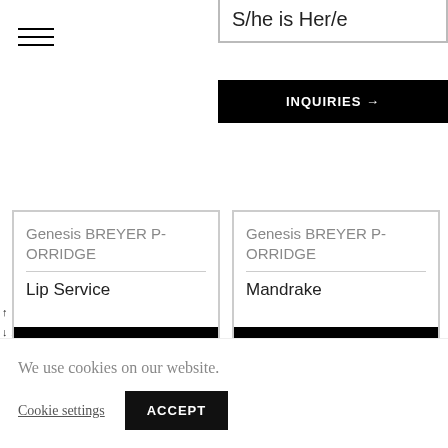S/he is Her/e
INQUIRIES →
↑ BACK TO TOP
↓ ARTWORKS
Genesis BREYER P-ORRIDGE
Lip Service
INQUIRIES →
Genesis BREYER P-ORRIDGE
Mandrake
INQUIRIES →
Genesis BREYER P-
Genesis BREYER P-
l Virus
INQUIRIES →
We use cookies on our website.
Cookie settings  ACCEPT